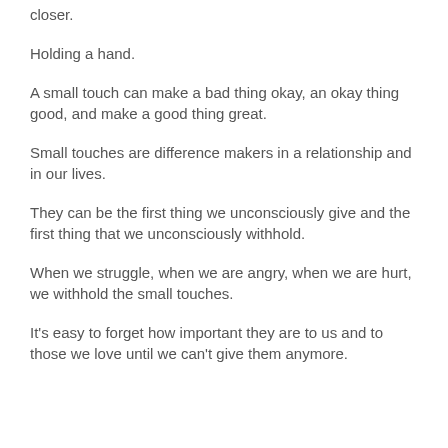closer.
Holding a hand.
A small touch can make a bad thing okay, an okay thing good, and make a good thing great.
Small touches are difference makers in a relationship and in our lives.
They can be the first thing we unconsciously give and the first thing that we unconsciously withhold.
When we struggle, when we are angry, when we are hurt, we withhold the small touches.
It's easy to forget how important they are to us and to those we love until we can't give them anymore.